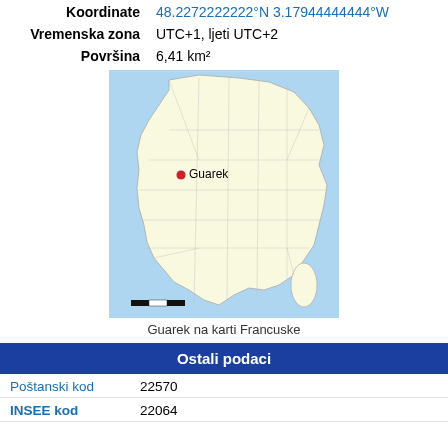Koordinate: 48.2272222222°N 3.17944444444°W
Vremenska zona: UTC+1, ljeti UTC+2
Površina: 6,41 km²
[Figure (map): Map of France with a red dot marking the location of Guarek in the Brittany region, with department borders shown. Scale bar at bottom left.]
Guarek na karti Francuske
Ostali podaci
Poštanski kod: 22570
INSEE kod: 22064